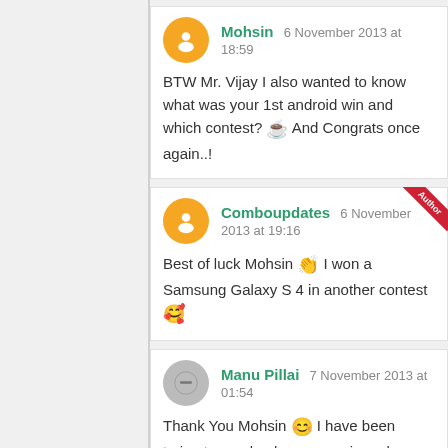Mohsin 6 November 2013 at 18:59
BTW Mr. Vijay I also wanted to know what was your 1st android win and which contest? ☕ And Congrats once again..!
Comboupdates 6 November 2013 at 19:16 [Author]
Best of luck Mohsin 👏 I won a Samsung Galaxy S 4 in another contest 🥰
Manu Pillai 7 November 2013 at 01:54
Thank You Mohsin 😊 I have been trying to send only one sms in an hour bracket and trying with different mobile numbers randomly without any specific logic ! Actually I still haven't assimilated that I